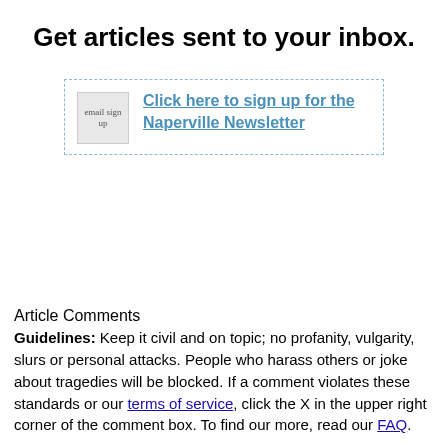Get articles sent to your inbox.
[Figure (other): Email sign-up box with dashed border, broken image icon labeled 'email sign up', and a link 'Click here to sign up for the Naperville Newsletter']
Article Comments
Guidelines: Keep it civil and on topic; no profanity, vulgarity, slurs or personal attacks. People who harass others or joke about tragedies will be blocked. If a comment violates these standards or our terms of service, click the X in the upper right corner of the comment box. To find our more, read our FAQ.